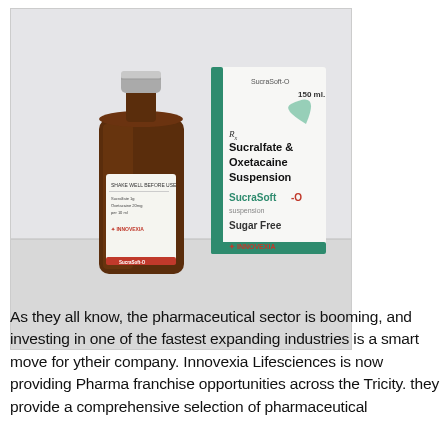[Figure (photo): Product photo showing a brown glass bottle (Sucralfate & Oxetacaine Suspension, SucraSoft-O, Sugar Free, 150 ml) beside its white and green branded packaging box. Both items show the Innovexia brand logo. The bottle has a silver screw cap. The box reads 'Rx Sucralfate & Oxetacaine Suspension', 'SucraSoft-O', 'Sugar Free', '150 ml'.]
As they all know, the pharmaceutical sector is booming, and investing in one of the fastest expanding industries is a smart move for ytheir company. Innovexia Lifesciences is now providing Pharma franchise opportunities across the Tricity. they provide a comprehensive selection of pharmaceutical